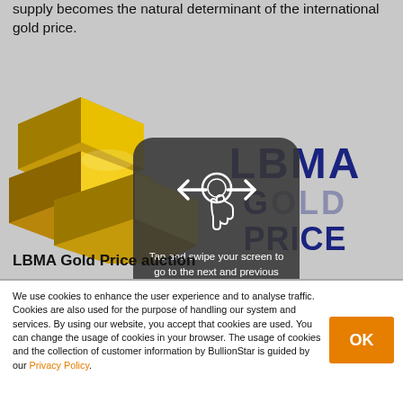supply becomes the natural determinant of the international gold price.
[Figure (photo): Gold bars stacked together with LBMA Gold Price logo overlay and a swipe gesture tutorial overlay showing arrows and hand icon with text 'Tap and swipe your screen to go to the next and previous page.']
LBMA Gold Price auction
We use cookies to enhance the user experience and to analyse traffic. Cookies are also used for the purpose of handling our system and services. By using our website, you accept that cookies are used. You can change the usage of cookies in your browser. The usage of cookies and the collection of customer information by BullionStar is guided by our Privacy Policy.